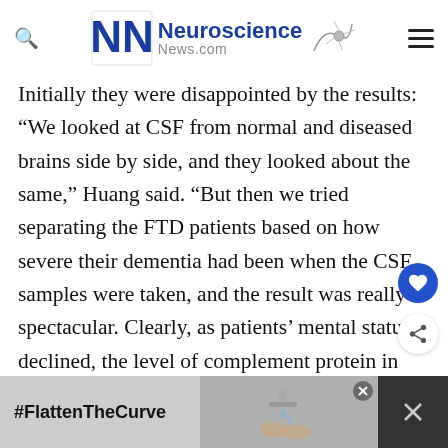Neuroscience News.com
Initially they were disappointed by the results: “We looked at CSF from normal and diseased brains side by side, and they looked about the same,” Huang said. “But then we tried separating the FTD patients based on how severe their dementia had been when the CSF samples were taken, and the result was really spectacular. Clearly, as patients’ mental status declined, the level of complement protein in their CSF increased.”
[Figure (screenshot): Advertisement banner at the bottom with #FlattenTheCurve hashtag and image of hands washing, with close button]